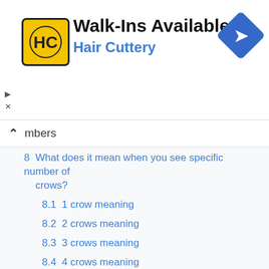[Figure (logo): Hair Cuttery advertisement banner with HC logo in yellow circle, 'Walk-Ins Available' title, 'Hair Cuttery' subtitle in blue, and a blue diamond navigation icon]
mbers
8   What does it mean when you see specific number of crows?
8.1  1 crow meaning
8.2  2 crows meaning
8.3  3 crows meaning
8.4  4 crows meaning
8.5  5 crows meaning
8.6  6 crows meaning
8.7  7 crows meaning
8.8  8 crows meaning
8.9  A bunch of crows cawing meaning